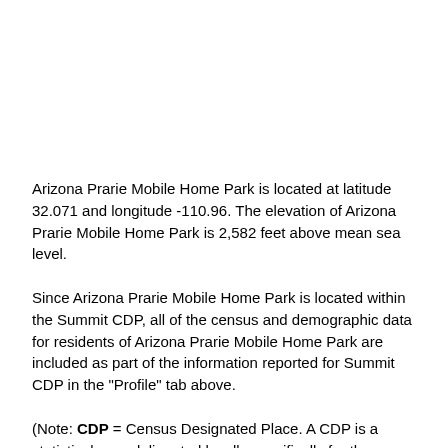Arizona Prarie Mobile Home Park is located at latitude 32.071 and longitude -110.96. The elevation of Arizona Prarie Mobile Home Park is 2,582 feet above mean sea level.
Since Arizona Prarie Mobile Home Park is located within the Summit CDP, all of the census and demographic data for residents of Arizona Prarie Mobile Home Park are included as part of the information reported for Summit CDP in the "Profile" tab above.
(Note: CDP = Census Designated Place. A CDP is a statistical area delineated locally specifically for the tabulation of Census Bureau data. While CDPs have specified boundaries, these boundaries have no legal significance.)